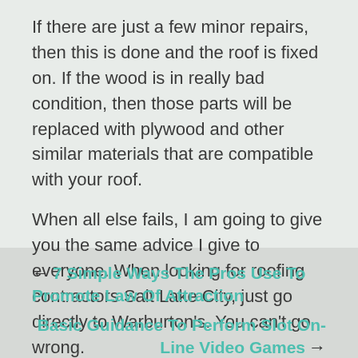If there are just a few minor repairs, then this is done and the roof is fixed on. If the wood is in really bad condition, then those parts will be replaced with plywood and other similar materials that are compatible with your roof.
When all else fails, I am going to give you the same advice I give to everyone. When looking for roofing contractors Salt Lake City, just go directly to Warburton's. You can't go wrong.
← 7 Simple Ways The Pros Use To Promote Law Of Attraction
Basic Guidance To Perform Slot On-Line Video Games →